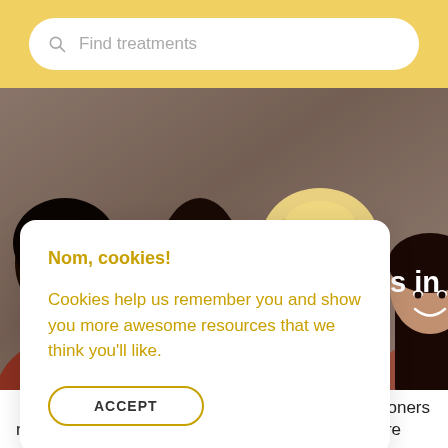Find treatments
[Figure (photo): Four smiling women of diverse ethnicities posing closely together against a grey background]
tions in
Nom, cookies!

Cookies help us remember you and show you more awesome resources that we think you'll like.

ACCEPT
ction practitioners near you who we have vetted to ensure that they're